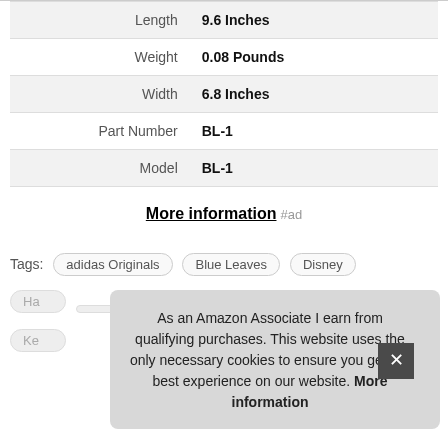| Attribute | Value |
| --- | --- |
| Length | 9.6 Inches |
| Weight | 0.08 Pounds |
| Width | 6.8 Inches |
| Part Number | BL-1 |
| Model | BL-1 |
More information #ad
Tags: adidas Originals  Blue Leaves  Disney
As an Amazon Associate I earn from qualifying purchases. This website uses the only necessary cookies to ensure you get the best experience on our website. More information